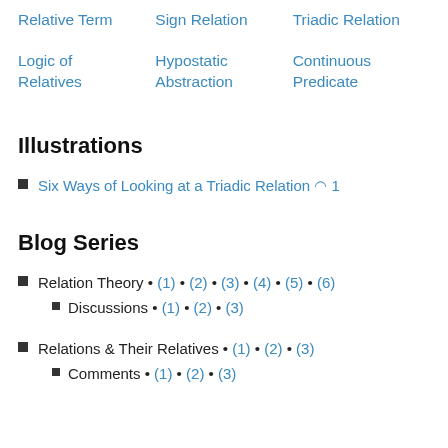Relative Term | Sign Relation | Triadic Relation
Logic of Relatives | Hypostatic Abstraction | Continuous Predicate
Illustrations
Six Ways of Looking at a Triadic Relation ◎ 1
Blog Series
Relation Theory • (1) • (2) • (3) • (4) • (5) • (6)
Discussions • (1) • (2) • (3)
Relations & Their Relatives • (1) • (2) • (3)
Comments • (1) • (2) • (3)